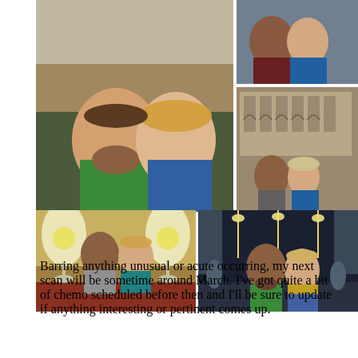[Figure (photo): Collage of five travel photos showing a couple at various European locations including a rooftop city view, the Colosseum, a restaurant with wine glasses, and a night street scene with lights.]
Barring anything unusual or acute occurring, my next scan will be sometime around March. I've got quite a bit of chemo scheduled before then and I'll be sure to update if anything interesting or pertinent comes up.